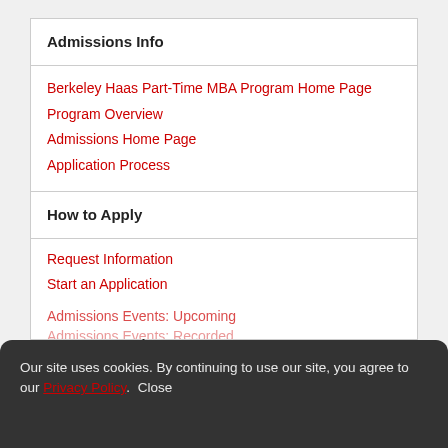Admissions Info
Berkeley Haas Part-Time MBA Program Home Page
Program Overview
Admissions Home Page
Application Process
How to Apply
Request Information
Start an Application
Meet Berkeley Haas
Our site uses cookies. By continuing to use our site, you agree to our Privacy Policy. Close